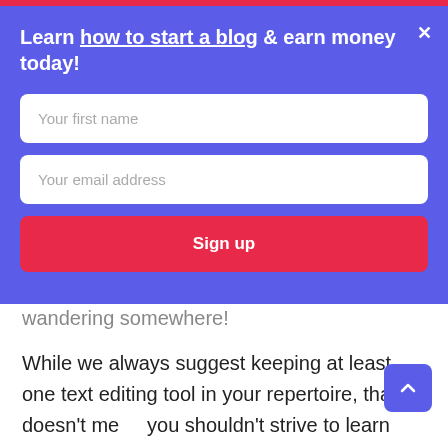[Figure (screenshot): A modal popup with blue background on a blog website. Contains title 'Learn how to start a blog & earn money today!', two input fields ('Your first name', 'Your email address'), and a red 'Sign up' button. A close (×) button is in the top-right corner of the modal.]
wandering somewhere!
While we always suggest keeping at least one text editing tool in your repertoire, that doesn't mean you shouldn't strive to learn more about spelling, grammar, and plagiarism on a consistent basis!